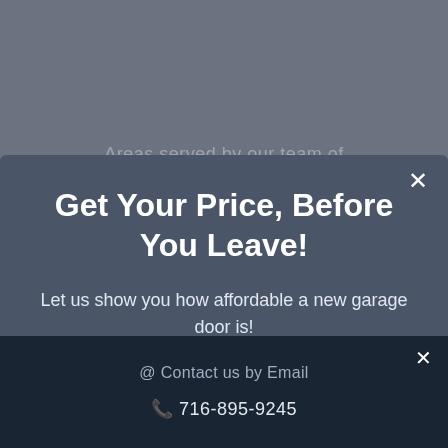Areas served by our team of
Get Your Price, Before You Leave!
Let us show you how affordable a new garage door is!
Get a Price!
@ Contact us by Email
716-895-9245